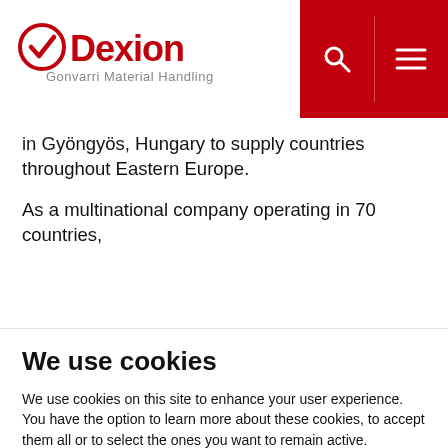Dexion - Gonvarri Material Handling
in Gyöngyös, Hungary to supply countries throughout Eastern Europe.
As a multinational company operating in 70 countries,
We use cookies
We use cookies on this site to enhance your user experience. You have the option to learn more about these cookies, to accept them all or to select the ones you want to remain active.
Accept all
Settings